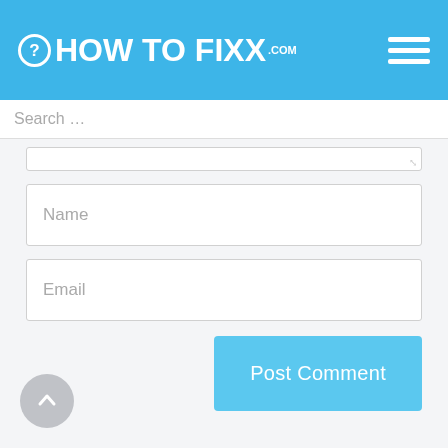HOW TO FIXX.com
Search …
Name
Email
Post Comment